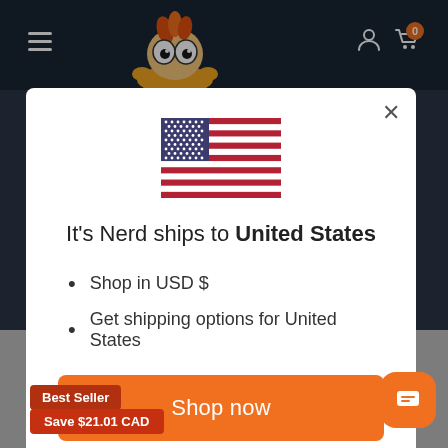[Figure (screenshot): E-commerce website navbar with dark background, hamburger menu, mascot logo (cartoon character with big eyes and flame hair), user/cart icons]
[Figure (illustration): US flag SVG inline illustration]
It's Nerd ships to United States
Shop in USD $
Get shipping options for United States
Shop now
Change shipping country
Best Seller
Save $21.01 CAD